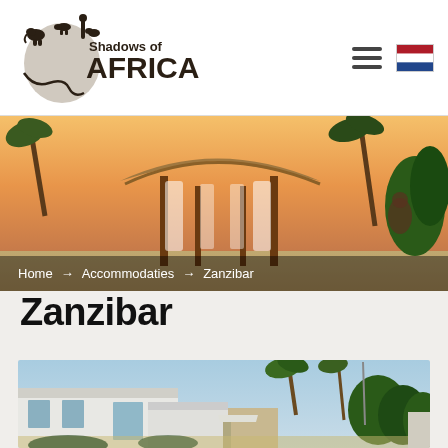[Figure (logo): Shadows of Africa logo with silhouette of animals and Africa continent shape]
[Figure (photo): Hero image of a thatched beach gazebo with white curtains at sunset, with palm trees and sandy beach]
Home → Accommodaties → Zanzibar
Zanzibar
[Figure (photo): Photo of white-walled building with low roofs surrounded by palm trees and tropical vegetation]